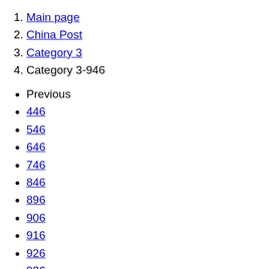1. Main page
2. China Post
3. Category 3
4. Category 3-946
Previous
446
546
646
746
846
896
906
916
926
936
941
942
943
944
945
Next
947